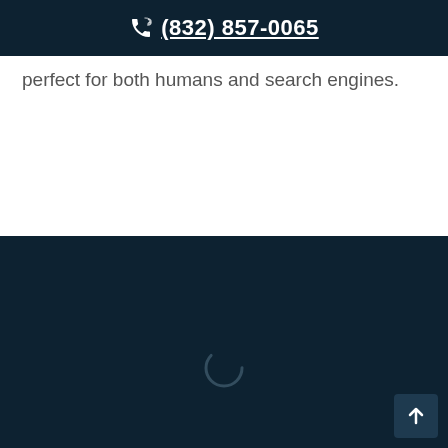(832) 857-0065
perfect for both humans and search engines.
[Figure (other): Dark teal/navy background section filling the lower portion of the page, with a partially visible circular loading spinner icon near the bottom center, and a back-to-top arrow button in the bottom-right corner.]